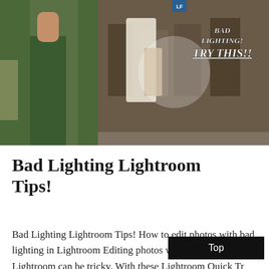[Figure (photo): Photo collage showing people at what appears to be a wedding or outdoor event. Left side shows a person in a green dress. Right side shows people gathered, with overlaid text 'BAD LIGHTING! TRY THIS!!' and an LF badge.]
Bad Lighting Lightroom Tips!
Bad Lighting Lightroom Tips! How to edit photos with bad lighting in Lightroom Editing photos with bad lighting in Lightroom can be tricky. With these Lightroom Quick Tr... you'll learn how to fix high contrast blown out images and maximize